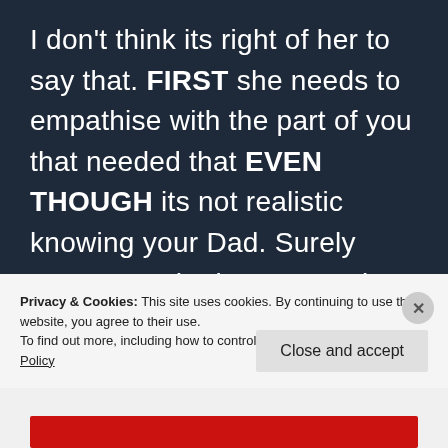I don't think its right of her to say that. FIRST she needs to empathise with the part of you that needed that EVEN THOUGH its not realistic knowing your Dad. Surely someone who loves you tries to extend themselves into your
Privacy & Cookies: This site uses cookies. By continuing to use this website, you agree to their use.
To find out more, including how to control cookies, see here: Cookie Policy
Close and accept